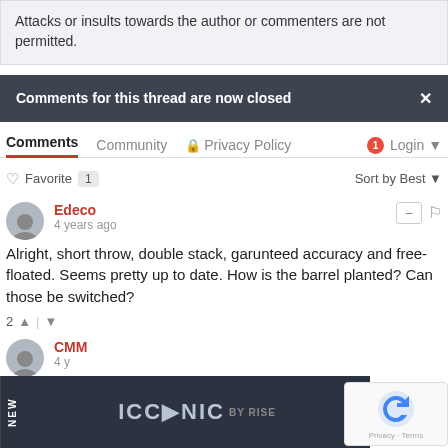Attacks or insults towards the author or commenters are not permitted.
Comments for this thread are now closed
Comments  Community  Privacy Policy  1  Login
Favorite 1   Sort by Best
Edeco
4 years ago
Alright, short throw, double stack, garunteed accuracy and free-floated. Seems pretty up to date. How is the barrel planted? Can those be switched?
2
CMM
4 y
"The ove
think tha